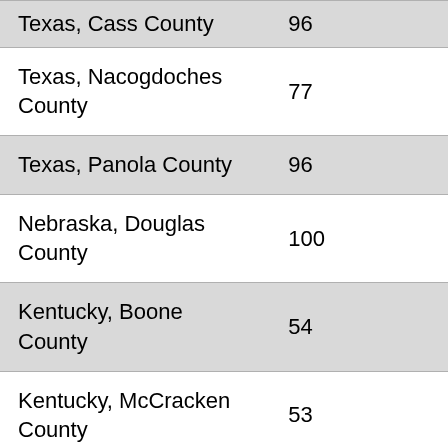| Location | Value |
| --- | --- |
| Texas, Cass County | 96 |
| Texas, Nacogdoches County | 77 |
| Texas, Panola County | 96 |
| Nebraska, Douglas County | 100 |
| Kentucky, Boone County | 54 |
| Kentucky, McCracken County | 53 |
| New Jersey, Somerset County | 53 |
| Maryland, Baltimore County | 68 |
| Kansas, Johnson County | 98 |